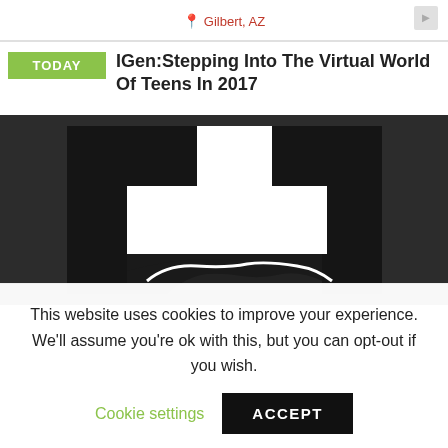Gilbert, AZ
IGen:Stepping Into The Virtual World Of Teens In 2017
[Figure (photo): Dark background with a large white cross/plus symbol shape visible above what appears to be a partial image at the bottom]
This website uses cookies to improve your experience. We'll assume you're ok with this, but you can opt-out if you wish.
Cookie settings   ACCEPT